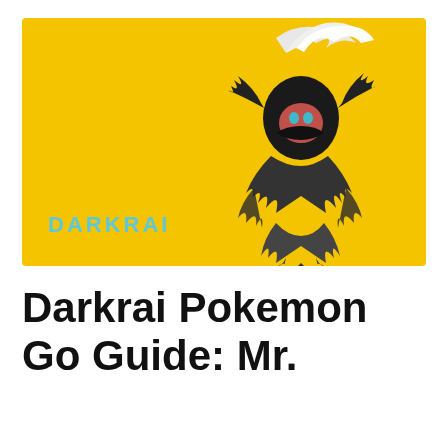[Figure (illustration): Darkrai Pokémon illustration on a bright yellow/golden background. The creature is dark/black with white flowing hair-like protrusion on top, red face with cyan eyes, and shadowy smoky lower body. The word 'DARKRAI' is written in light blue letters in the lower-left of the image.]
Darkrai Pokemon Go Guide: Mr.